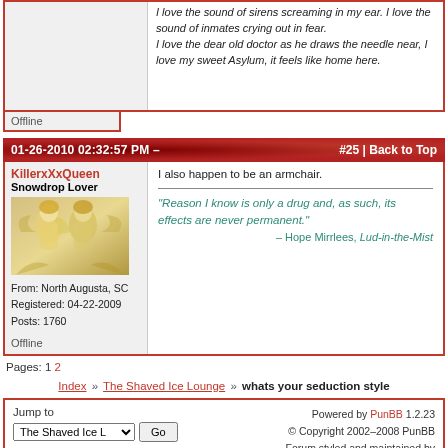I love the sound of sirens screaming in my ear. I love the sound of inmates crying out in fear.
I love the dear old doctor as he draws the needle near, I love my sweet Asylum, it feels like home here.
Offline
01-26-2010 02:32:57 PM  –  #25 | Back to Top
KillerxXxQueen
Snowdrop Lover
From: North Augusta, SC
Registered: 04-22-2009
Posts: 1760
Offline
I also happen to be an armchair.

"Reason I know is only a drug and, as such, its effects are never permanent."
– Hope Mirrlees, Lud-in-the-Mist
Pages: 1 2
Index » The Shaved Ice Lounge » whats your seduction style
Jump to  The Shaved Ice L  Go   Powered by PunBB 1.2.23
© Copyright 2002–2008 PunBB
Forum styled and maintained by Giovanna and Yasha
Return to Empty Movement